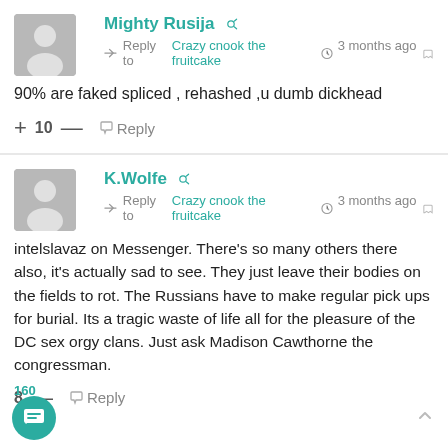Mighty Rusija — Reply to Crazy cnook the fruitcake — 3 months ago
90% are faked spliced , rehashed ,u dumb dickhead
+ 10 — Reply
K.Wolfe — Reply to Crazy cnook the fruitcake — 3 months ago
intelslavaz on Messenger. There's so many others there also, it's actually sad to see. They just leave their bodies on the fields to rot. The Russians have to make regular pick ups for burial. Its a tragic waste of life all for the pleasure of the DC sex orgy clans. Just ask Madison Cawthorne the congressman.
8 — Reply